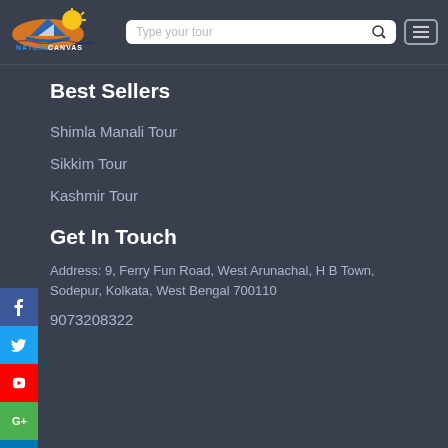[Figure (logo): Nature Canvas travel agency logo with orange oval, boat/sailboat graphic and sun, text NATURE CANVAS]
Type your tour
Best Sellers
Shimla Manali Tour
Sikkim Tour
Kashmir Tour
Get In Touch
Address: 9, Ferry Fun Road, West Arunachal, H B Town, Sodepur, Kolkata, West Bengal 700110
9073208322